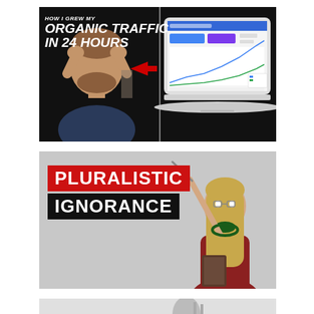[Figure (screenshot): YouTube thumbnail showing a shocked man with hands on head, bold italic white text 'ORGANIC TRAFFIC IN 24 HOURS', a red arrow pointing to a laptop screen showing analytics dashboard]
[Figure (screenshot): YouTube thumbnail with text 'PLURALISTIC IGNORANCE' in bold white on red and black backgrounds, woman in red sweater holding a book and pointing with a pointer stick]
[Figure (screenshot): Partial third YouTube thumbnail visible at bottom of page, showing partial dark background with silhouette elements]